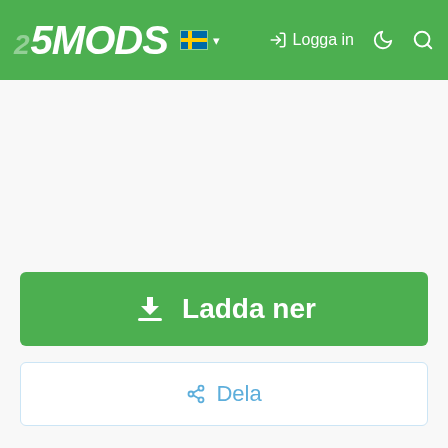5MODS — Logga in
[Figure (screenshot): 5MODS website header with green background, logo showing '5MODS' in white italic text, Swedish flag icon with dropdown arrow, Login button 'Logga in', moon icon and search icon on the right]
Ladda ner
Dela